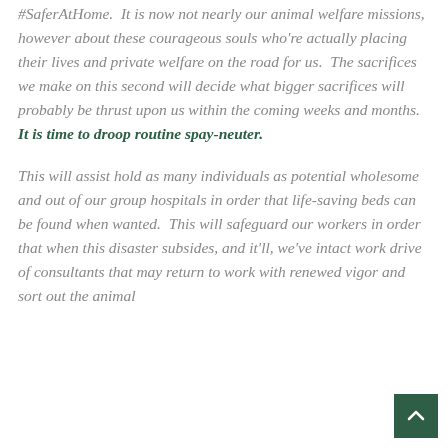#SaferAtHome.  It is now not nearly our animal welfare missions, however about these courageous souls who're actually placing their lives and private welfare on the road for us.  The sacrifices we make on this second will decide what bigger sacrifices will probably be thrust upon us within the coming weeks and months.  It is time to droop routine spay-neuter.
This will assist hold as many individuals as potential wholesome and out of our group hospitals in order that life-saving beds can be found when wanted.  This will safeguard our workers in order that when this disaster subsides, and it'll, we've intact work drive of consultants that may return to work with renewed vigor and sort out the animal